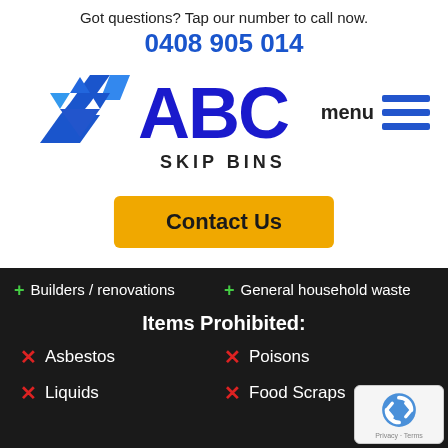Got questions? Tap our number to call now.
0408 905 014
[Figure (logo): ABC Skip Bins logo with blue lettering and recycling arrows icon]
menu
Contact Us
+ Builders / renovations
+ General household waste
Items Prohibited:
x Asbestos
x Poisons
x Liquids
x Food Scraps